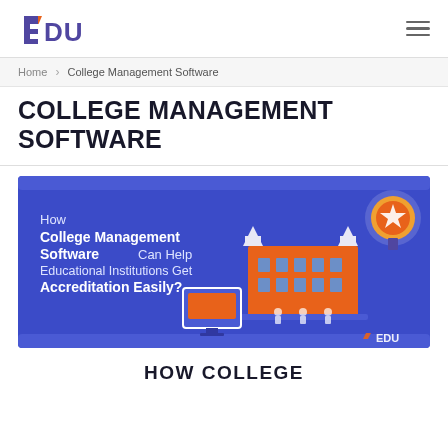EDU (logo)
Home › College Management Software
COLLEGE MANAGEMENT SOFTWARE
[Figure (infographic): Blue infographic banner: 'How College Management Software Can Help Educational Institutions Get Accreditation Easily?' with illustration of a college building, a computer monitor, and an award medal badge. EDU logo in bottom right.]
HOW COLLEGE